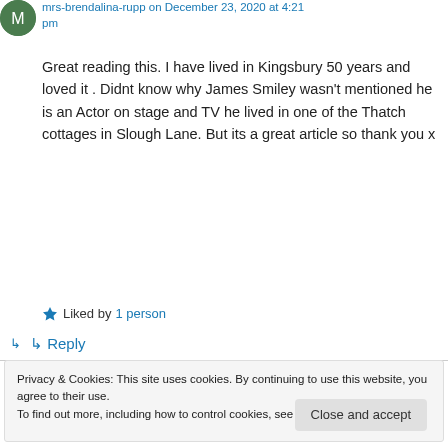mrs-brendalina-rupp on December 23, 2020 at 4:21 pm
Great reading this. I have lived in Kingsbury 50 years and loved it . Didnt know why James Smiley wasn't mentioned he is an Actor on stage and TV he lived in one of the Thatch cottages in Slough Lane. But its a great article so thank you x
Liked by 1 person
↳ Reply
Privacy & Cookies: This site uses cookies. By continuing to use this website, you agree to their use.
To find out more, including how to control cookies, see here: Cookie Policy